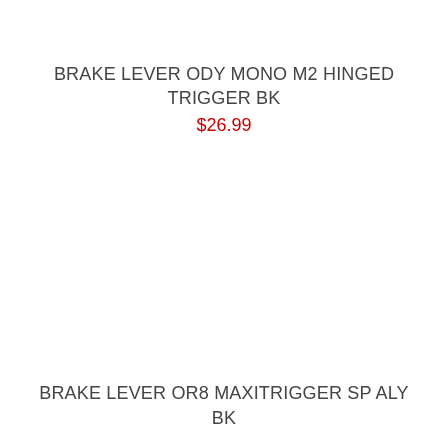BRAKE LEVER ODY MONO M2 HINGED TRIGGER BK
$26.99
BRAKE LEVER OR8 MAXITRIGGER SP ALY BK